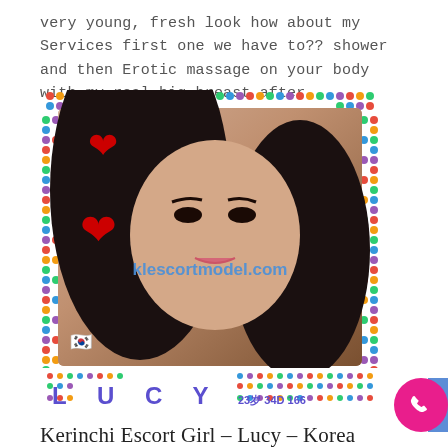very young, fresh look how about my Services first one we have to?? shower and then Erotic massage on your body with my real big breast after..
[Figure (photo): Photo of a young woman with long dark hair, wearing makeup, with heart emojis and a colorful polka-dot border frame. Watermark reads 'klescortmodel.com'. Name 'LUCY' displayed at bottom with stats '23岁 34D 166'. South Korean flag emoji visible.]
Kerinchi Escort Girl – Lucy – Korea